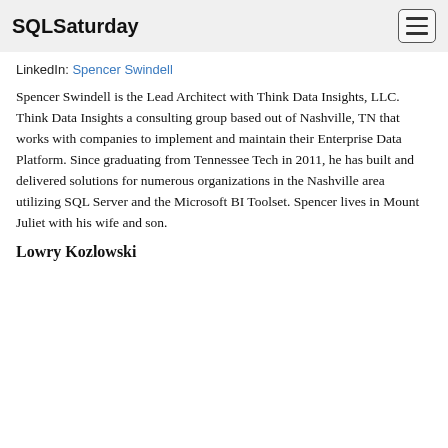SQLSaturday
LinkedIn: Spencer Swindell
Spencer Swindell is the Lead Architect with Think Data Insights, LLC. Think Data Insights a consulting group based out of Nashville, TN that works with companies to implement and maintain their Enterprise Data Platform. Since graduating from Tennessee Tech in 2011, he has built and delivered solutions for numerous organizations in the Nashville area utilizing SQL Server and the Microsoft BI Toolset. Spencer lives in Mount Juliet with his wife and son.
Lowry Kozlowski